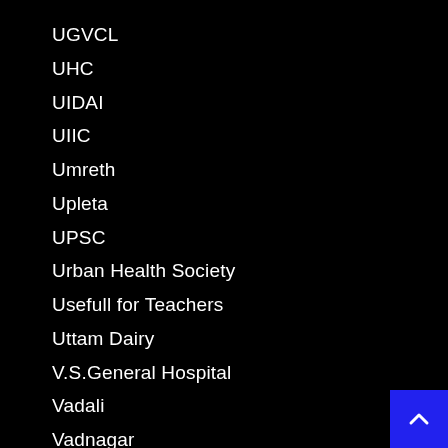UGVCL
UHC
UIDAI
UIIC
Umreth
Upleta
UPSC
Urban Health Society
Usefull for Teachers
Uttam Dairy
V.S.General Hospital
Vadali
Vadnagar
Vadodara
Valsad